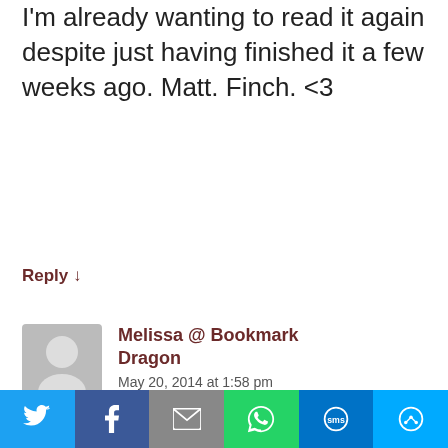LOVE Open Road Summer, and I'm already wanting to read it again despite just having finished it a few weeks ago. Matt. Finch. <3
Reply ↓
Melissa @ Bookmark Dragon
May 20, 2014 at 1:58 pm
I love your Potter gifs. That series really did teach an entire generation about friendship and